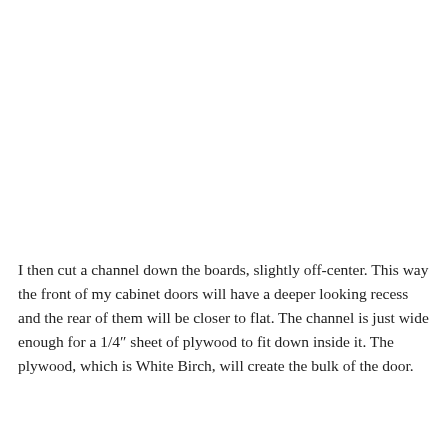I then cut a channel down the boards, slightly off-center. This way the front of my cabinet doors will have a deeper looking recess and the rear of them will be closer to flat. The channel is just wide enough for a 1/4″ sheet of plywood to fit down inside it. The plywood, which is White Birch, will create the bulk of the door.